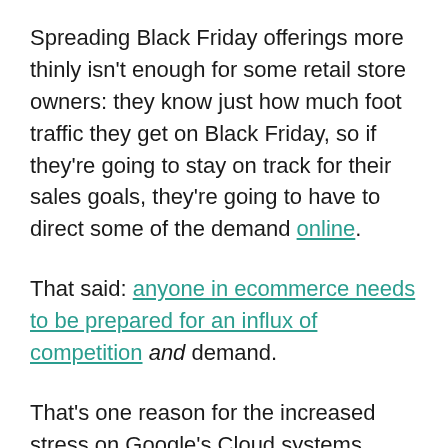Spreading Black Friday offerings more thinly isn't enough for some retail store owners: they know just how much foot traffic they get on Black Friday, so if they're going to stay on track for their sales goals, they're going to have to direct some of the demand online.
That said: anyone in ecommerce needs to be prepared for an influx of competition and demand.
That's one reason for the increased stress on Google's Cloud systems. According to its data, online demand has already skyrocketed since the onset of the COVID-19 pandemic. The